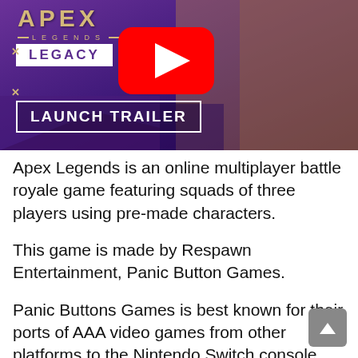[Figure (screenshot): YouTube thumbnail for Apex Legends Legacy launch trailer, showing the APEX LEGENDS logo with LEGACY season label, a female character on the right, and a YouTube play button in the center. 'LAUNCH TRAILER' text in a box at the bottom left.]
Apex Legends is an online multiplayer battle royale game featuring squads of three players using pre-made characters.
This game is made by Respawn Entertainment, Panic Button Games.
Panic Buttons Games is best known for their ports of AAA video games from other platforms to the Nintendo Switch console.